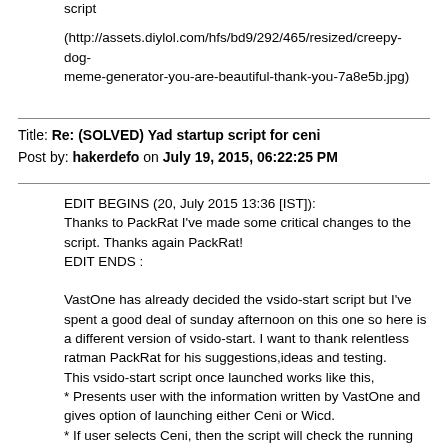script
(http://assets.diylol.com/hfs/bd9/292/465/resized/creepy-dog-meme-generator-you-are-beautiful-thank-you-7a8e5b.jpg)
Title: Re: (SOLVED) Yad startup script for ceni
Post by: hakerdefo on July 19, 2015, 06:22:25 PM
EDIT BEGINS (20, July 2015 13:36 [IST]):
Thanks to PackRat I've made some critical changes to the script. Thanks again PackRat!
EDIT ENDS :

VastOne has already decided the vsido-start script but I've spent a good deal of sunday afternoon on this one so here is a different version of vsido-start. I want to thank relentless ratman PackRat for his suggestions,ideas and testing.
This vsido-start script once launched works like this,
* Presents user with the information written by VastOne and gives option of launching either Ceni or Wicd.
* If user selects Ceni, then the script will check the running status of Wicd and if it is running then the script offers option to stop Wicd or keep it running, Next the script checks if Wicd is autostarting or not, If Wicd is enabled to autostart then the script will offer option to disable it or keep it enabled, And finally the script will launch Ceni.
* If user selects Wicd, then the script will check the running status of Wicd service, If the Wicd service is dead then the script will start the Wicd service, Next the script checks if Wicd